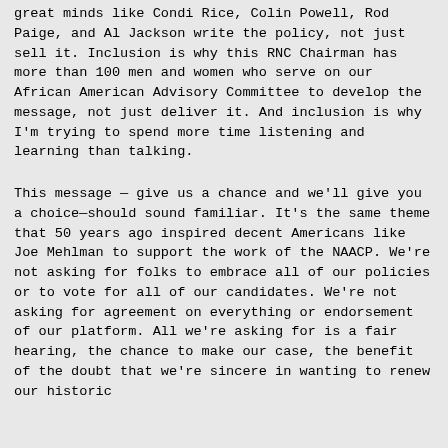great minds like Condi Rice, Colin Powell, Rod Paige, and Al Jackson write the policy, not just sell it. Inclusion is why this RNC Chairman has more than 100 men and women who serve on our African American Advisory Committee to develop the message, not just deliver it. And inclusion is why I'm trying to spend more time listening and learning than talking.

This message — give us a chance and we'll give you a choice—should sound familiar. It's the same theme that 50 years ago inspired decent Americans like Joe Mehlman to support the work of the NAACP. We're not asking for folks to embrace all of our policies or to vote for all of our candidates. We're not asking for agreement on everything or endorsement of our platform. All we're asking for is a fair hearing, the chance to make our case, the benefit of the doubt that we're sincere in wanting to renew our historic